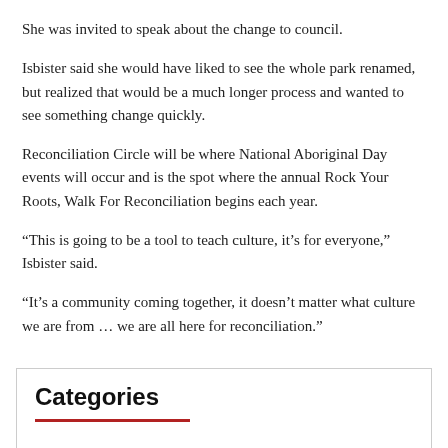She was invited to speak about the change to council.
Isbister said she would have liked to see the whole park renamed, but realized that would be a much longer process and wanted to see something change quickly.
Reconciliation Circle will be where National Aboriginal Day events will occur and is the spot where the annual Rock Your Roots, Walk For Reconciliation begins each year.
“This is going to be a tool to teach culture, it’s for everyone,” Isbister said.
“It’s a community coming together, it doesn’t matter what culture we are from … we are all here for reconciliation.”
Categories